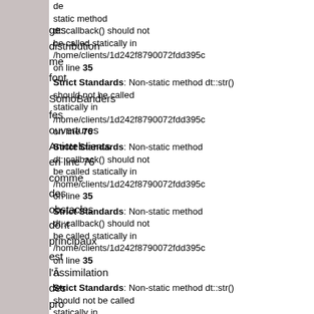Strict Standards: Non-static method dt::callback() should not be called statically in /home/clients/1d242f8790072fdd395c on line 35
Strict Standards: Non-static method dt::str() should not be called statically in /home/clients/1d242f8790072fdd395c on line 76
Strict Standards: Non-static method dt::callback() should not be called statically in /home/clients/1d242f8790072fdd395c on line 35
Strict Standards: Non-static method dt::callback() should not be called statically in /home/clients/1d242f8790072fdd395c on line 35
Strict Standards: Non-static method dt::str() should not be called statically in /home/clients/1d242f8790072fdd395c